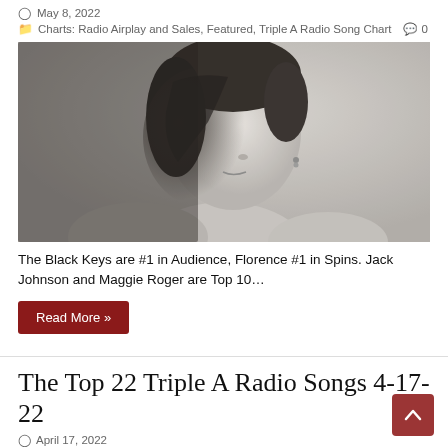May 8, 2022
Charts: Radio Airplay and Sales, Featured, Triple A Radio Song Chart  0
[Figure (photo): Black and white portrait photo of a person with short hair looking upward, bare shoulders]
The Black Keys are #1 in Audience, Florence #1 in Spins. Jack Johnson and Maggie Roger are Top 10…
Read More »
The Top 22 Triple A Radio Songs 4-17-22
April 17, 2022